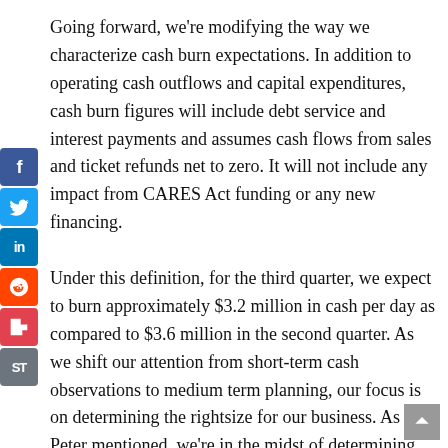Going forward, we're modifying the way we characterize cash burn expectations. In addition to operating cash outflows and capital expenditures, cash burn figures will include debt service and interest payments and assumes cash flows from sales and ticket refunds net to zero. It will not include any impact from CARES Act funding or any new financing.

Under this definition, for the third quarter, we expect to burn approximately $3.2 million in cash per day as compared to $3.6 million in the second quarter. As we shift our attention from short-term cash observations to medium term planning, our focus is on determining the rightsize for our business. As Peter mentioned, we're in the midst of determining and offering voluntary separation and early retirement options to our
[Figure (other): Social sharing sidebar with icons for Facebook, Twitter, LinkedIn, Reddit, Flipboard, and ShareThis]